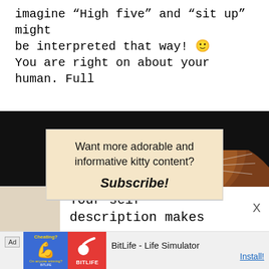imagine “High five” and “sit up” might be interpreted that way! 😊
You are right on about your human. Full
Want more adorable and informative kitty content? Subscribe!
EMAIL
Submit
[Figure (photo): A brown tabby cat looking at the camera against a dark background]
Your self description makes
Ad  BitLife - Life Simulator  Install!